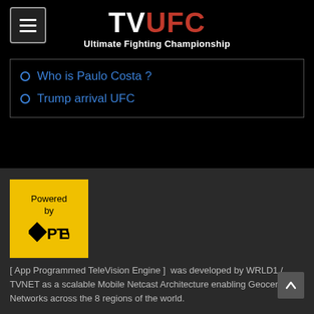TV UFC — Ultimate Fighting Championship
Who is Paulo Costa ?
Trump arrival UFC
[Figure (logo): Powered by PTVE (Programmed TeleVision Engine) logo — yellow square with black diamond and PTVE text]
[ App Programmed TeleVision Engine ]  was developed by WRLD1 / TVNET as a scalable Mobile Netcast Architecture enabling Geocentric Networks across the 8 regions of the world.
Copyright 2021 WorldNetCast /TVNET
Web Solutions by Wirefreesoft | Google Partner